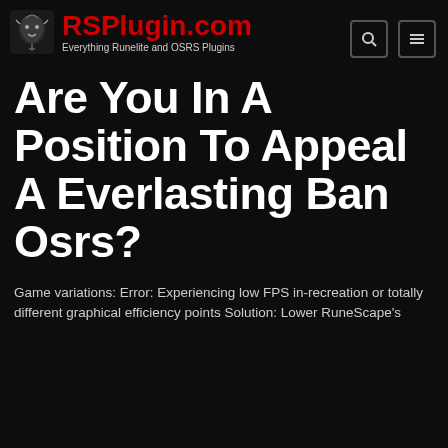RSPlugin.com — Everything Runelite and OSRS Plugins
Are You In A Position To Appeal A Everlasting Ban Osrs?
Game variations: Error: Experiencing low FPS in-recreation or totally different graphical efficiency points Solution: Lower RuneScape's